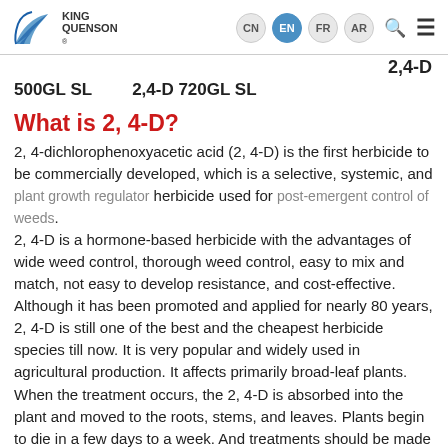King Quenson | CN EN FR AR
2,4-D
500GL SL    2,4-D 720GL SL
What is 2, 4-D?
2, 4-dichlorophenoxyacetic acid (2, 4-D) is the first herbicide to be commercially developed, which is a selective, systemic, and plant growth regulator herbicide used for post-emergent control of weeds. 2, 4-D is a hormone-based herbicide with the advantages of wide weed control, thorough weed control, easy to mix and match, not easy to develop resistance, and cost-effective. Although it has been promoted and applied for nearly 80 years, 2, 4-D is still one of the best and the cheapest herbicide species till now. It is very popular and widely used in agricultural production. It affects primarily broad-leaf plants. When the treatment occurs, the 2, 4-D is absorbed into the plant and moved to the roots, stems, and leaves. Plants begin to die in a few days to a week. And treatments should be made when weeds start to threaten